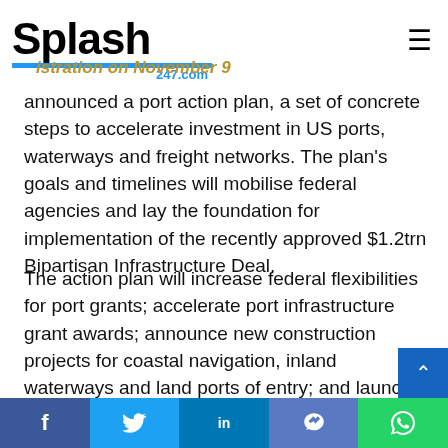Splash247.com
istration on November 9
announced a port action plan, a set of concrete steps to accelerate investment in US ports, waterways and freight networks. The plan's goals and timelines will mobilise federal agencies and lay the foundation for implementation of the recently approved $1.2trn Bipartisan Infrastructure Deal.
The action plan will increase federal flexibilities for port grants; accelerate port infrastructure grant awards; announce new construction projects for coastal navigation, inland waterways and land ports of entry; and launch the first round of expanded port infrastructure grants funded through the Bipartisan Infrastructure Deal.
Facebook Twitter LinkedIn Messenger WhatsApp